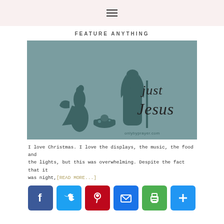☰
FEATURE ANYTHING
[Figure (illustration): Nativity scene silhouette illustration on a muted teal/grey background showing Mary kneeling beside baby Jesus in a manger, Joseph standing, with cursive text reading 'just Jesus' and 'onlybyprayer.com' watermark]
I love Christmas. I love the displays, the music, the food and the lights, but this was overwhelming. Despite the fact that it was night, [READ MORE...]
[Figure (infographic): Social sharing buttons: Facebook (blue), Twitter (blue), Pinterest (red), Email (blue), Print (green), Share/Plus (blue)]